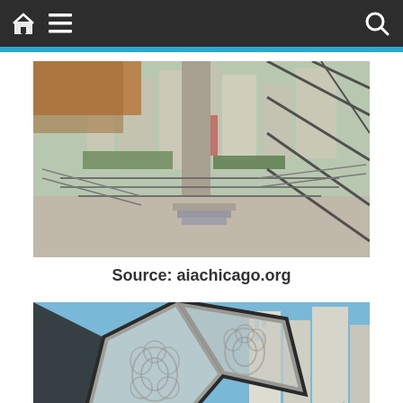Navigation bar with home, menu, and search icons
[Figure (photo): Interior architectural photo of a modern glass building showing a long corridor with glass walls, metal railings, geometric structural elements, and city skyline visible through the windows. Wood ceiling on the left side.]
Source: aiachicago.org
[Figure (photo): Exterior architectural photo showing a decorative lattice facade with organic/floral cutout pattern in white/grey panels, with city high-rise buildings visible through and beyond the facade under a blue sky.]